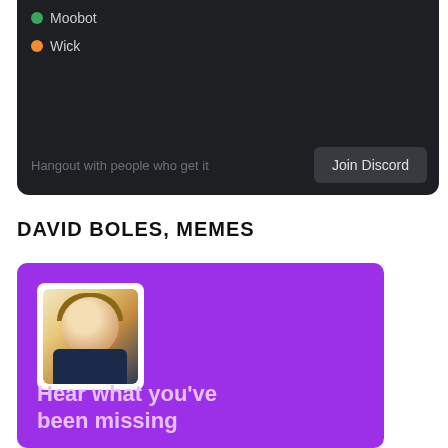[Figure (screenshot): Discord dark-themed panel showing two users listed: Moobot (green dot) and Wick (orange dot), with a 'Hangout with people who get it' message and a 'Join Discord' button]
DAVID BOLES, MEMES
[Figure (illustration): Purple meme card with an avatar portrait image of a man and text 'Hear what you've been missing']